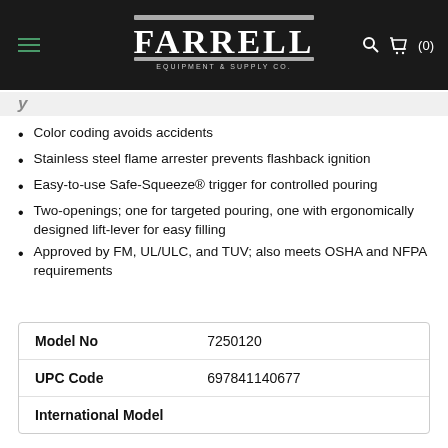[Figure (logo): Farrell Equipment & Supply Co. logo on dark background with navigation icons]
Color coding avoids accidents
Stainless steel flame arrester prevents flashback ignition
Easy-to-use Safe-Squeeze® trigger for controlled pouring
Two-openings; one for targeted pouring, one with ergonomically designed lift-lever for easy filling
Approved by FM, UL/ULC, and TUV; also meets OSHA and NFPA requirements
| Field | Value |
| --- | --- |
| Model No | 7250120 |
| UPC Code | 697841140677 |
| International Model |  |